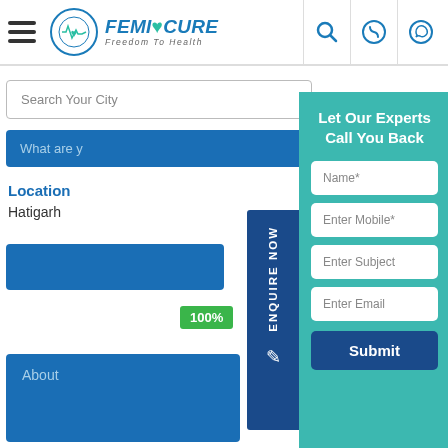[Figure (screenshot): FemiCure website header with hamburger menu, logo (FemiCure - Freedom To Health), search icon, phone icon, and WhatsApp icon]
Search Your City
What are y
Location
Hatigarh
100%
About
ENQUIRE NOW
Let Our Experts Call You Back
Name*
Enter Mobile*
Enter Subject
Enter Email
Submit